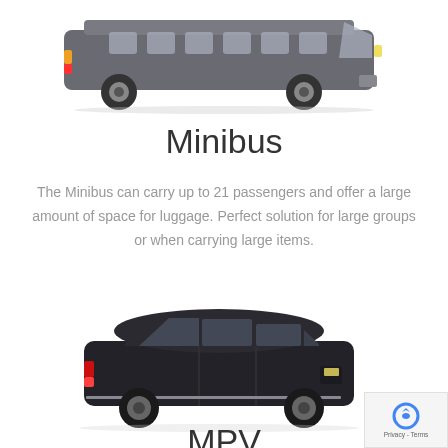[Figure (photo): Side view of a large dark grey Mercedes-Benz Sprinter minibus van on white background]
Minibus
The Minibus can carry up to 21 passengers and offer a large amount of space for luggage. Perfect solution for large groups or when carrying large items.
[Figure (photo): Side view of a black MPV/large SUV people carrier vehicle on white background]
MPV